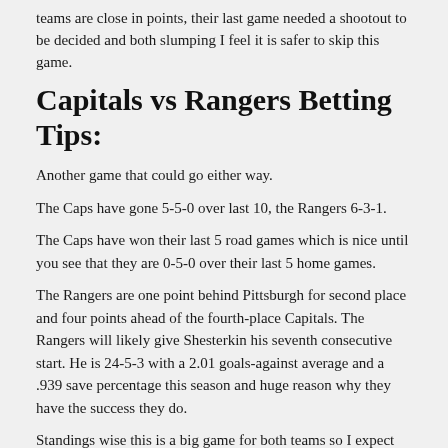teams are close in points, their last game needed a shootout to be decided and both slumping I feel it is safer to skip this game.
Capitals vs Rangers Betting Tips:
Another game that could go either way.
The Caps have gone 5-5-0 over last 10, the Rangers 6-3-1.
The Caps have won their last 5 road games which is nice until you see that they are 0-5-0 over their last 5 home games.
The Rangers are one point behind Pittsburgh for second place and four points ahead of the fourth-place Capitals. The Rangers will likely give Shesterkin his seventh consecutive start. He is 24-5-3 with a 2.01 goals-against average and a .939 save percentage this season and huge reason why they have the success they do.
Standings wise this is a big game for both teams so I expect this to be a good one. Caps road success of late gives them a slight advantage but the fourth-place Capitals are still in contention.